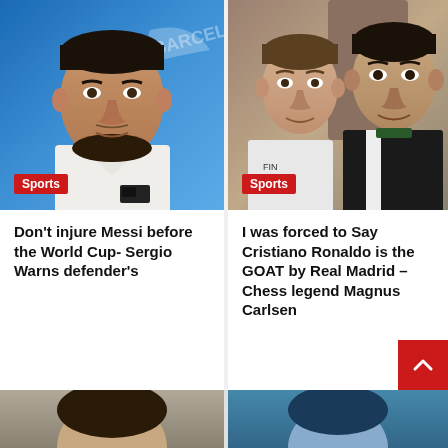[Figure (photo): Man at press conference, blue Nike background, white shirt]
Sports
Don't injure Messi before the World Cup- Sergio Warns defender's
10 hours ago  philemon
[Figure (photo): Two men posing together, one in white shirt, one in black jacket]
Sports
I was forced to Say Cristiano Ronaldo is the GOAT by Real Madrid – Chess legend Magnus Carlsen
11 hours ago  philemon
[Figure (photo): Bottom strip showing partial images of two more articles]